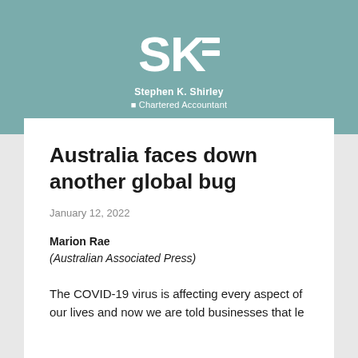[Figure (logo): SKE logo — Stephen K. Shirley Chartered Accountant — white logo on teal background]
Australia faces down another global bug
January 12, 2022
Marion Rae
(Australian Associated Press)
The COVID-19 virus is affecting every aspect of our lives and now we are told businesses that le…